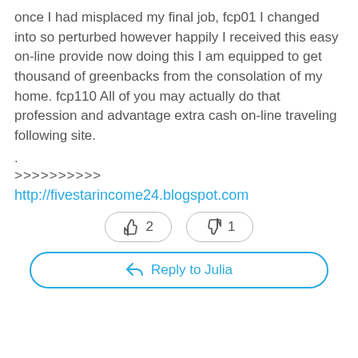once I had misplaced my final job, fcp01 I changed into so perturbed however happily I received this easy on-line provide now doing this I am equipped to get thousand of greenbacks from the consolation of my home. fcp110 All of you may actually do that profession and advantage extra cash on-line traveling following site.
.
>>>>>>>>>>
http://fivestarincome24.blogspot.com
[Figure (other): Like button with count 2 and dislike button with count 1]
Reply to Julia